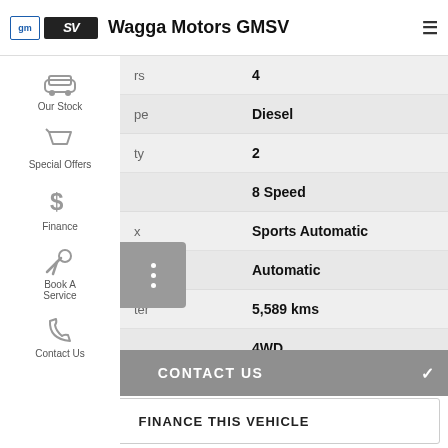Wagga Motors GMSV
| Attribute | Value |
| --- | --- |
| rs | 4 |
| pe | Diesel |
| ty | 2 |
|  | 8 Speed |
| x | Sports Automatic |
| ission | Automatic |
| ter | 5,589 kms |
|  | 4WD |
CONTACT US
FINANCE THIS VEHICLE